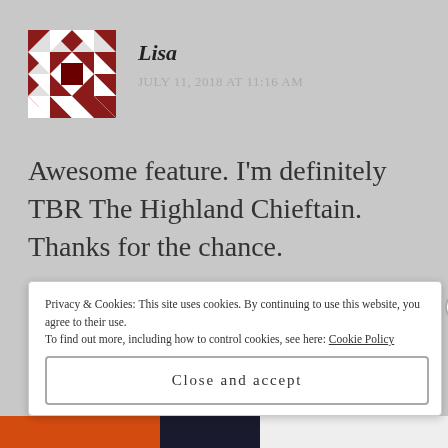[Figure (illustration): Quilt-pattern avatar with red and white geometric design, dark red center square]
Lisa
JULY 11, 2018 AT 11:16 AM
Awesome feature. I'm definitely TBR The Highland Chieftain. Thanks for the chance.
★ Liked by 1 person
Privacy & Cookies: This site uses cookies. By continuing to use this website, you agree to their use. To find out more, including how to control cookies, see here: Cookie Policy
Close and accept